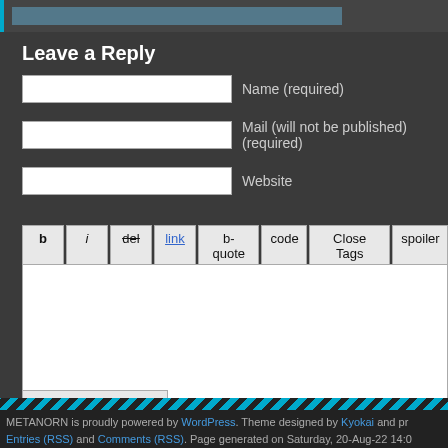Leave a Reply
Name (required)
Mail (will not be published) (required)
Website
b  i  del  link  b-quote  code  Close Tags  spoiler
Submit Comment
METANORN is proudly powered by WordPress. Theme designed by Kyokai and pr... Entries (RSS) and Comments (RSS). Page generated on Saturday, 20-Aug-22 14:0...